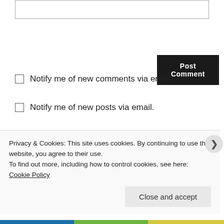[Figure (screenshot): Text input box (comment field) partially visible at top of page]
Post Comment
Notify me of new comments via email.
Notify me of new posts via email.
PREVIOUS
Privacy & Cookies: This site uses cookies. By continuing to use this website, you agree to their use.
To find out more, including how to control cookies, see here: Cookie Policy
Close and accept